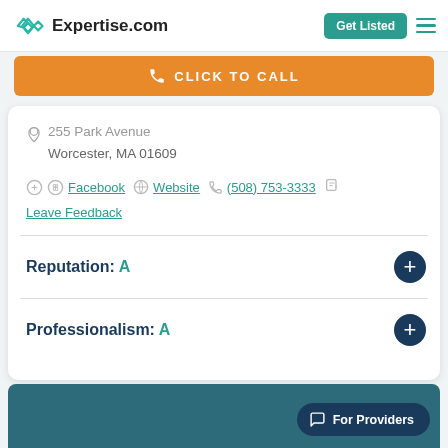Expertise.com — Get Listed
[Figure (screenshot): Orange click-to-call button bar]
255 Park Avenue
Worcester, MA 01609
Facebook  Website  (508) 753-3333
Leave Feedback
Reputation:  A
Professionalism:  A
[Figure (screenshot): For Providers chat bubble button in bottom right]